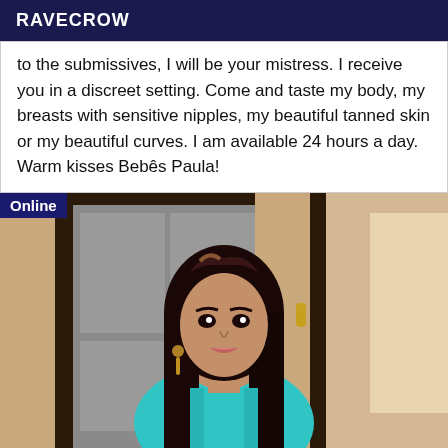RAVECROW
to the submissives, I will be your mistress. I receive you in a discreet setting. Come and taste my body, my breasts with sensitive nipples, my beautiful tanned skin or my beautiful curves. I am available 24 hours a day. Warm kisses Bebês Paula!
[Figure (photo): Photo of a young woman with long dark hair wearing a teal top, standing near a door frame. An 'Online' badge appears in the top-left corner of the image.]